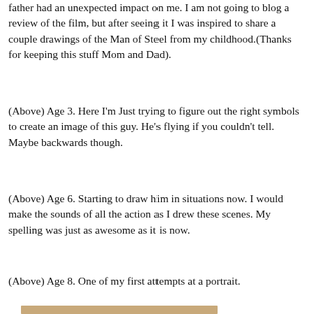father had an unexpected impact on me. I am not going to blog a review of the film, but after seeing it I was inspired to share a couple drawings of the Man of Steel from my childhood.(Thanks for keeping this stuff Mom and Dad).
(Above) Age 3. Here I'm Just trying to figure out the right symbols to create an image of this guy. He's flying if you couldn't tell. Maybe backwards though.
(Above) Age 6. Starting to draw him in situations now. I would make the sounds of all the action as I drew these scenes. My spelling was just as awesome as it is now.
(Above) Age 8. One of my first attempts at a portrait.
[Figure (illustration): Partial view of a tan/beige colored image strip at the bottom of the page]